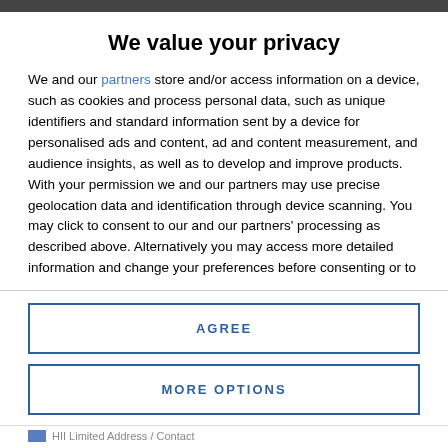We value your privacy
We and our partners store and/or access information on a device, such as cookies and process personal data, such as unique identifiers and standard information sent by a device for personalised ads and content, ad and content measurement, and audience insights, as well as to develop and improve products. With your permission we and our partners may use precise geolocation data and identification through device scanning. You may click to consent to our and our partners' processing as described above. Alternatively you may access more detailed information and change your preferences before consenting or to refuse consenting. Please note that some processing of your personal data may not require your consent, but you have a right to
AGREE
MORE OPTIONS
HII Limited Address / Contact